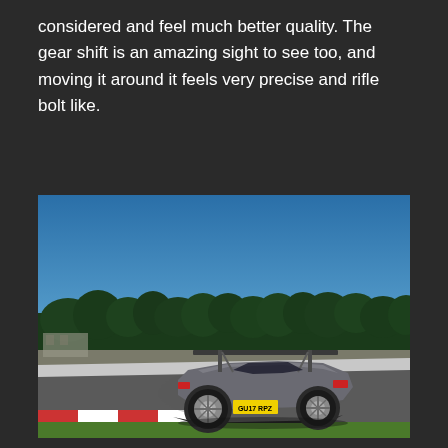considered and feel much better quality. The gear shift is an amazing sight to see too, and moving it around it feels very precise and rifle bolt like.
[Figure (photo): Rear three-quarter view of a grey Lotus sports car with a large rear wing, photographed on a race track with trees in the background and a blue sky. The car has a UK license plate visible.]